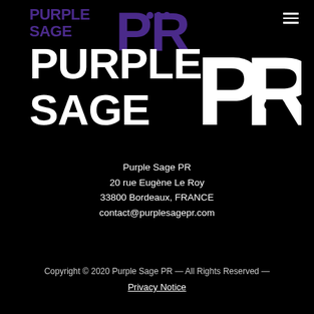[Figure (logo): Purple Sage PR logo — large white text 'PURPLE SAGE' stacked on left with large white 'PR' letters on right containing stylized skull icons, overlaid on a smaller purple version of the same logo in the top-left corner. Black background.]
Purple Sage PR
20 rue Eugène Le Roy
33800 Bordeaux, FRANCE
contact@purplesagepr.com
Copyright © 2020 Purple Sage PR — All Rights Reserved —
Privacy Notice